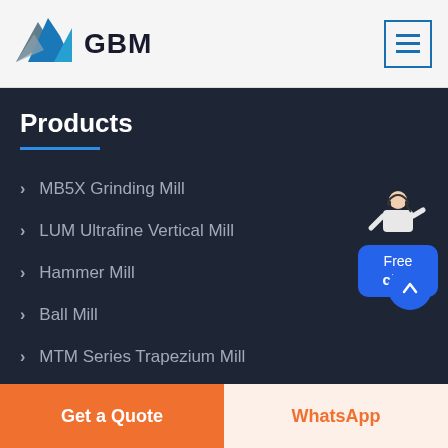[Figure (logo): GBM logo with blue mountain/arrow graphic and bold text GBM]
[Figure (other): Hamburger menu icon in blue bordered square]
Products
MB5X Grinding Mill
LUM Ultrafine Vertical Mill
Hammer Mill
Ball Mill
MTM Series Trapezium Mill
LM Vertical Roller Mill
[Figure (illustration): Customer service representative figure with Free chat button]
Get a Quote
WhatsApp